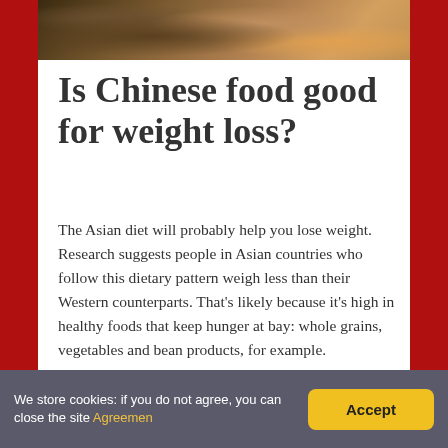[Figure (photo): Partial photo of Chinese food takeaway containers with noodles and vegetables, cropped at top of page]
Is Chinese food good for weight loss?
The Asian diet will probably help you lose weight. Research suggests people in Asian countries who follow this dietary pattern weigh less than their Western counterparts. That's likely because it's high in healthy foods that keep hunger at bay: whole grains, vegetables and bean products, for example.
Which takeaway
We store cookies: if you do not agree, you can close the site Agreemen
Accept